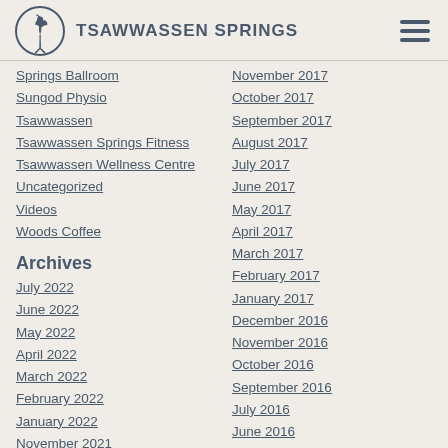TSAWWASSEN SPRINGS
Springs Ballroom
Sungod Physio
Tsawwassen
Tsawwassen Springs Fitness
Tsawwassen Wellness Centre
Uncategorized
Videos
Woods Coffee
Archives
July 2022
June 2022
May 2022
April 2022
March 2022
February 2022
January 2022
November 2021
October 2021
September 2021
November 2017
October 2017
September 2017
August 2017
July 2017
June 2017
May 2017
April 2017
March 2017
February 2017
January 2017
December 2016
November 2016
October 2016
September 2016
July 2016
June 2016
April 2016
March 2016
February 2016